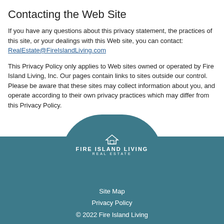Contacting the Web Site
If you have any questions about this privacy statement, the practices of this site, or your dealings with this Web site, you can contact: RealEstate@FireIslandLiving.com
This Privacy Policy only applies to Web sites owned or operated by Fire Island Living, Inc. Our pages contain links to sites outside our control. Please be aware that these sites may collect information about you, and operate according to their own privacy practices which may differ from this Privacy Policy.
[Figure (logo): Fire Island Living Real Estate logo in a rounded pill-shaped teal container]
Site Map
Privacy Policy
© 2022 Fire Island Living
631.583.5600
Follow us on Facebook